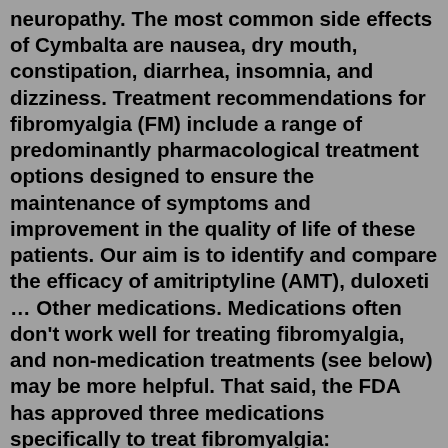neuropathy. The most common side effects of Cymbalta are nausea, dry mouth, constipation, diarrhea, insomnia, and dizziness. Treatment recommendations for fibromyalgia (FM) include a range of predominantly pharmacological treatment options designed to ensure the maintenance of symptoms and improvement in the quality of life of these patients. Our aim is to identify and compare the efficacy of amitriptyline (AMT), duloxeti … Other medications. Medications often don't work well for treating fibromyalgia, and non-medication treatments (see below) may be more helpful. That said, the FDA has approved three medications specifically to treat fibromyalgia: pregabalin (Lyrica), duloxetine (Cymbalta), and milnacipran (Savella).Hello fellows, My doctor prescribed Cymbalta 40mg & Lyrica 75mg together. I've used Cymbalta and gabapentin separately before. I had bad thoughts when I was on gabapentin. ... Here are your drugs you asked about, I think with fibromyalgia the prescription is a log lower than for the pain it may originally be indicated for